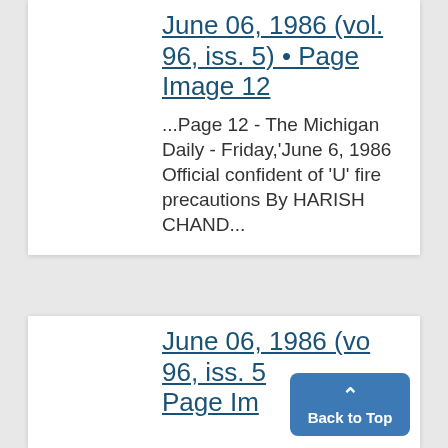June 06, 1986 (vol. 96, iss. 5) • Page Image 12
...Page 12 - The Michigan Daily - Friday,'June 6, 1986 Official confident of 'U' fire precautions By HARISH CHAND...
June 06, 1986 (vol. 96, iss. 5) • Page Im...